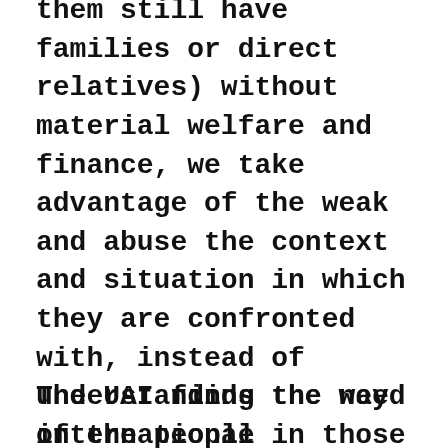them still have families or direct relatives) without material welfare and finance, we take advantage of the weak and abuse the context and situation in which they are confronted with, instead of understanding the need of the people in those countries who are affected by poverty, natural disasters, and war, etc.
The UAI finds the way international